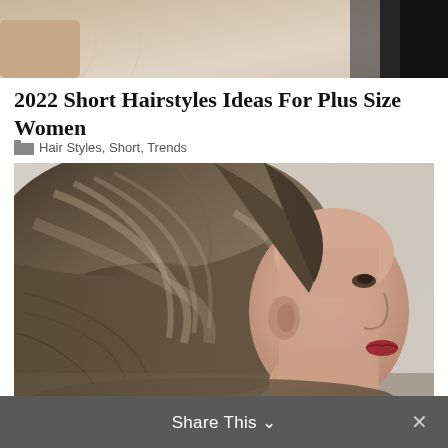[Figure (photo): Partial top photo showing blonde/light hair and dark background, cropped at top of page]
2022 Short Hairstyles Ideas For Plus Size Women
Hair Styles, Short, Trends
[Figure (photo): Woman with short brown bob hairstyle, side profile view, with highlights, against light beige wall background]
Share This ∨  ✕